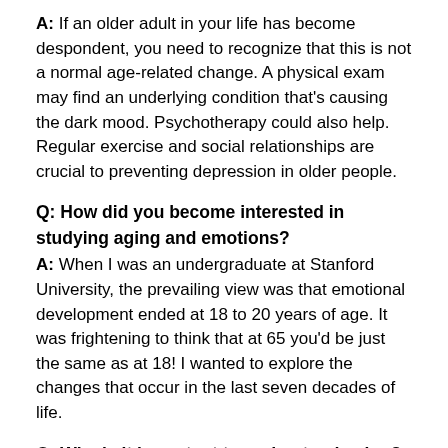A: If an older adult in your life has become despondent, you need to recognize that this is not a normal age-related change. A physical exam may find an underlying condition that's causing the dark mood. Psychotherapy could also help. Regular exercise and social relationships are crucial to preventing depression in older people.
Q: How did you become interested in studying aging and emotions?
A: When I was an undergraduate at Stanford University, the prevailing view was that emotional development ended at 18 to 20 years of age. It was frightening to think that at 65 you'd be just the same as at 18! I wanted to explore the changes that occur in the last seven decades of life.
Q: Why is it important to understand aging?
A: By the year 2030, one in five Americans will be older than 65. Currently, Europe and Japan have aging populations that aren't being fully replenished by